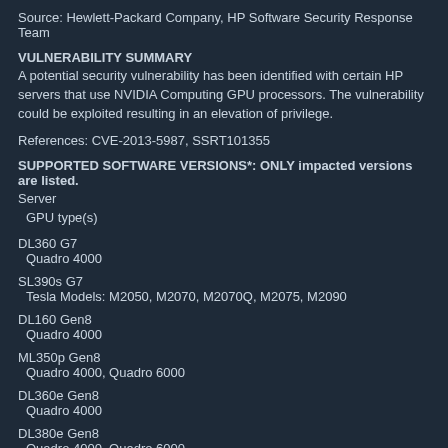Source: Hewlett-Packard Company, HP Software Security Response Team
VULNERABILITY SUMMARY
A potential security vulnerability has been identified with certain HP servers that use NVIDIA Computing GPU processors. The vulnerability could be exploited resulting in an elevation of privilege.
References: CVE-2013-5987, SSRT101355
SUPPORTED SOFTWARE VERSIONS*: ONLY impacted versions are listed.
Server
 GPU type(s)
DL360 G7
 Quadro 4000
SL390s G7
 Tesla Models: M2050, M2070, M2070Q, M2075, M2090
DL160 Gen8
 Quadro 4000
ML350p Gen8
 Quadro 4000, Quadro 6000
DL360e Gen8
 Quadro 4000
DL380e Gen8
 Quadro 4000, Quadro 6000
SL250s Gen8